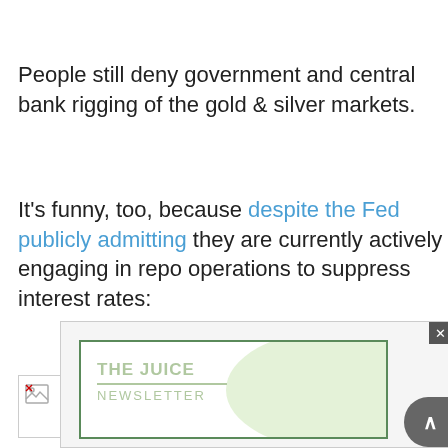People still deny government and central bank rigging of the gold & silver markets.
It's funny, too, because despite the Fed publicly admitting they are currently actively engaging in repo operations to suppress interest rates:
[Figure (other): Broken image placeholder — image failed to load, shown as broken image icon with grey border]
[Figure (other): Advertisement box for 'The Juice Newsletter' with green outlined inner box containing the newsletter name and a light green blob background shape. Has a close button (x) and a scroll-up arrow button.]